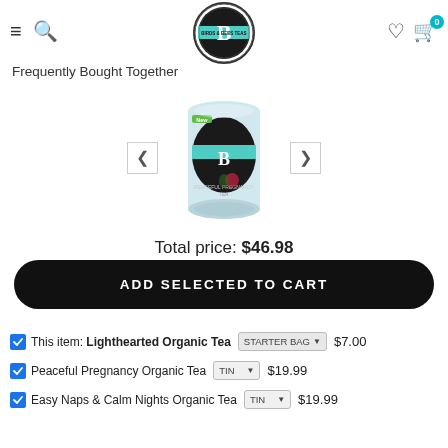[Figure (logo): Birds & Bees Teas circular logo with B in center and teal ribbon]
Frequently Bought Together
[Figure (photo): Birds & Bees Teas tin product - Peaceful Pregnancy Organic Tea]
Total price: $46.98
ADD SELECTED TO CART
This item: Lighthearted Organic Tea | STARTER BAG | $7.00
Peaceful Pregnancy Organic Tea | TIN | $19.99
Easy Naps & Calm Nights Organic Tea | TIN | $19.99